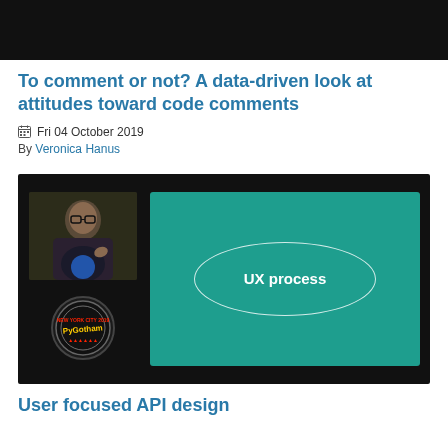[Figure (screenshot): Dark banner/header bar at top of webpage]
To comment or not? A data-driven look at attitudes toward code comments
Fri 04 October 2019
By Veronica Hanus
[Figure (screenshot): Video thumbnail showing a speaker on the left and a teal slide reading 'UX process' with an oval outline on the right. A PyGotham logo is visible in the lower left.]
User focused API design